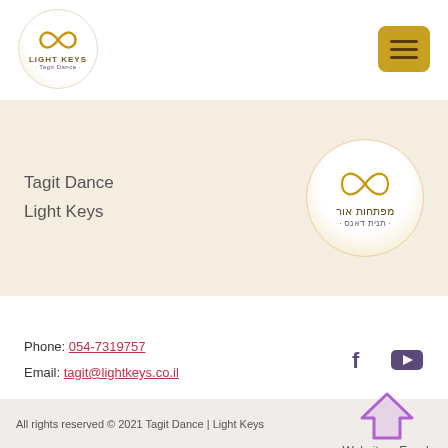[Figure (logo): Light Keys Tagit Dance logo — infinity symbol in gold with text LIGHT KEYS and Tagit Dance in a white circle]
[Figure (other): Hamburger menu button in gold/yellow color]
[Figure (logo): Hebrew version of Light Keys Tagit Dance logo — infinity symbol in gold with Hebrew text מפתחות אור and תנית דאנס in a white circle on beige background]
Tagit Dance
Light Keys
Phone: 054-7319757
Email: tagit@lightkeys.co.il
[Figure (illustration): Facebook icon (f) in purple and YouTube icon (play button) in purple]
All rights reserved © 2021 Tagit Dance | Light Keys
[Figure (illustration): Purple upward arrow icon with Website ♥ Essek text below]